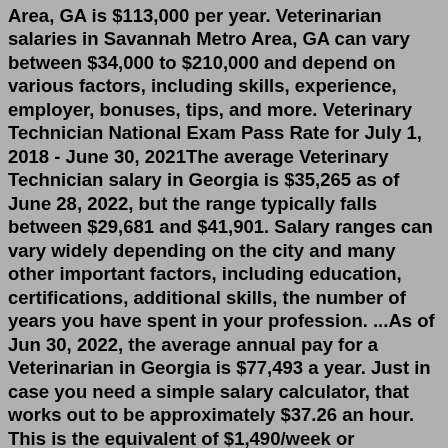Area, GA is $113,000 per year. Veterinarian salaries in Savannah Metro Area, GA can vary between $34,000 to $210,000 and depend on various factors, including skills, experience, employer, bonuses, tips, and more. Veterinary Technician National Exam Pass Rate for July 1, 2018 - June 30, 2021The average Veterinary Technician salary in Georgia is $35,265 as of June 28, 2022, but the range typically falls between $29,681 and $41,901. Salary ranges can vary widely depending on the city and many other important factors, including education, certifications, additional skills, the number of years you have spent in your profession. ...As of Jun 30, 2022, the average annual pay for a Veterinarian in Georgia is $77,493 a year. Just in case you need a simple salary calculator, that works out to be approximately $37.26 an hour. This is the equivalent of $1,490/week or $6,458/month. While ZipRecruiter is seeing salaries as high as $132,551 and as low as $36,223, the majority of Veterinarian salaries currently range between $66,076 (25th percentile) to $94,338 (75th percentile) with top